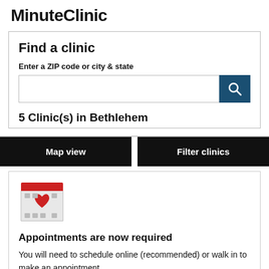MinuteClinic
Find a clinic
Enter a ZIP code or city & state
5 Clinic(s) in Bethlehem
Map view
Filter clinics
[Figure (illustration): Calendar icon with a red heart]
Appointments are now required
You will need to schedule online (recommended) or walk in to make an appointment